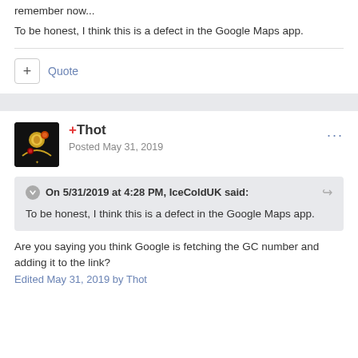remember now...
To be honest, I think this is a defect in the Google Maps app.
+ Quote
+Thot
Posted May 31, 2019
On 5/31/2019 at 4:28 PM, IceColdUK said:
To be honest, I think this is a defect in the Google Maps app.
Are you saying you think Google is fetching the GC number and adding it to the link?
Edited May 31, 2019 by Thot